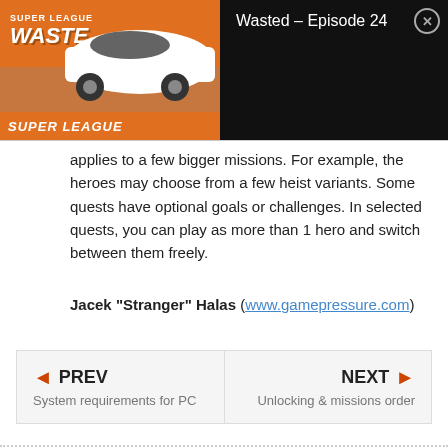[Figure (screenshot): Super League Wasted Episode 24 video thumbnail banner with orange background showing a white sports car, play button, and 'SUPER LEAGUE' text at bottom. Right side shows black background with title 'Wasted - Episode 24' and a close button.]
applies to a few bigger missions. For example, the heroes may choose from a few heist variants. Some quests have optional goals or challenges. In selected quests, you can play as more than 1 hero and switch between them freely.
Jacek "Stranger" Halas (www.gamepressure.com)
◄ PREV
System requirements for PC
NEXT ►
Unlocking & missions order